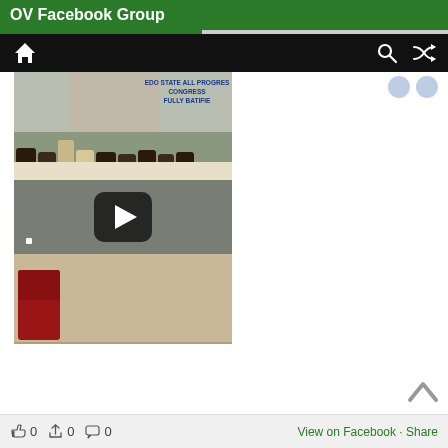OV Facebook Group
[Figure (screenshot): Screenshot of a Facebook group page showing a video post with a play button. The video shows a meeting scene with people seated at a table and a banner reading 'EDO STATE ALL PROGRESS CONGRESS FULLY RATIFIED'. Below the video are reaction icons with counts of 0 for like, share, and comment, and a 'View on Facebook · Share' link.]